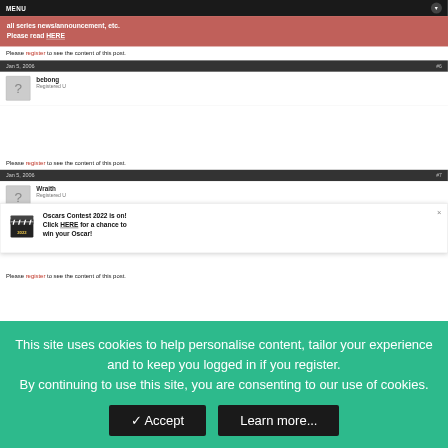MENU
all series news/announcement, etc. Please read HERE
Please register to see the content of this post.
Jan 5, 2006 #6
bebong
Registered U
[Figure (infographic): Oscars Contest 2022 popup with clapperboard icon. Text: Oscars Contest 2022 is on! Click HERE for a chance to win your Oscar!]
Please register to see the content of this post.
Jan 5, 2006 #7
Wraith
Registered U
[Figure (infographic): Mangahelpers Awards 2022 popup with star/laurel icon. Text: It's back! MH presents a celebration of manga/anime culture; Mangahelpers Awards 2022 is NOW LIVE!]
Please register to see the content of this post.
This site uses cookies to help personalise content, tailor your experience and to keep you logged in if you register. By continuing to use this site, you are consenting to our use of cookies.
Accept   Learn more...